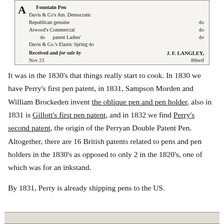[Figure (other): Scanned newspaper advertisement for fountain pens, featuring a decorative letter A logo, listing pen types: Davis & Co's Am. Democratic, Republican genuine (do), Atwood's Commercial (do), do patent Ladies' (do), Davis & Co.'s Elastic Spring (do). Received and for sale by J. F. LANGLEY, Nov 23, 80twtf]
It was in the 1830's that things really start to cook. In 1830 we have Perry's first pen patent, in 1831, Sampson Morden and William Brockeden invent the oblique pen and pen holder, also in 1831 is Gillott's first pen patent, and in 1832 we find Perry's second patent, the origin of the Perryan Double Patent Pen. Altogether, there are 16 British patents related to pens and pen holders in the 1830's as opposed to only 2 in the 1820's, one of which was for an inkstand.
By 1831, Perry is already shipping pens to the US.
[Figure (other): Bottom of page showing edge of another scanned document/advertisement, partially visible.]